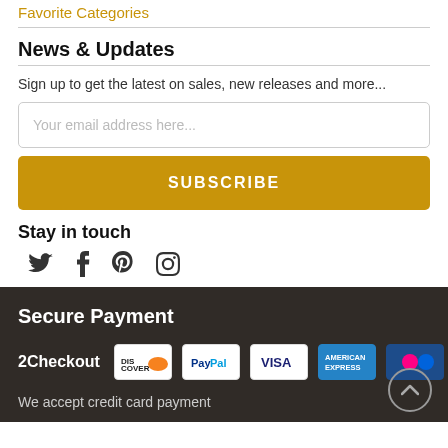Favorite Categories
News & Updates
Sign up to get the latest on sales, new releases and more...
Your email address here...
SUBSCRIBE
Stay in touch
[Figure (infographic): Social media icons: Twitter, Facebook, Pinterest, Instagram]
Secure Payment
[Figure (infographic): 2Checkout payment badges: Discover, PayPal, Visa, American Express, Flickr/Mastercard]
We accept credit card payment